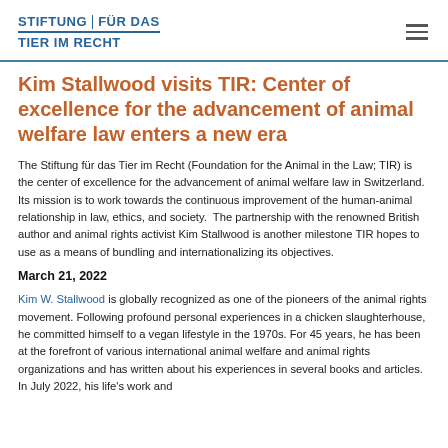STIFTUNG | FÜR DAS TIER IM RECHT
Kim Stallwood visits TIR: Center of excellence for the advancement of animal welfare law enters a new era
The Stiftung für das Tier im Recht (Foundation for the Animal in the Law; TIR) is the center of excellence for the advancement of animal welfare law in Switzerland. Its mission is to work towards the continuous improvement of the human-animal relationship in law, ethics, and society.  The partnership with the renowned British author and animal rights activist Kim Stallwood is another milestone TIR hopes to use as a means of bundling and internationalizing its objectives.
March 21, 2022
Kim W. Stallwood is globally recognized as one of the pioneers of the animal rights movement. Following profound personal experiences in a chicken slaughterhouse, he committed himself to a vegan lifestyle in the 1970s. For 45 years, he has been at the forefront of various international animal welfare and animal rights organizations and has written about his experiences in several books and articles. In July 2022, his life's work and